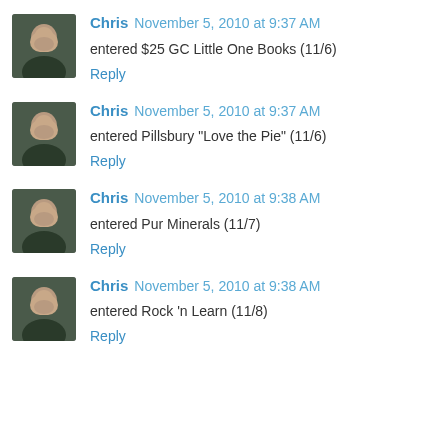Chris November 5, 2010 at 9:37 AM
entered $25 GC Little One Books (11/6)
Reply
Chris November 5, 2010 at 9:37 AM
entered Pillsbury "Love the Pie" (11/6)
Reply
Chris November 5, 2010 at 9:38 AM
entered Pur Minerals (11/7)
Reply
Chris November 5, 2010 at 9:38 AM
entered Rock 'n Learn (11/8)
Reply